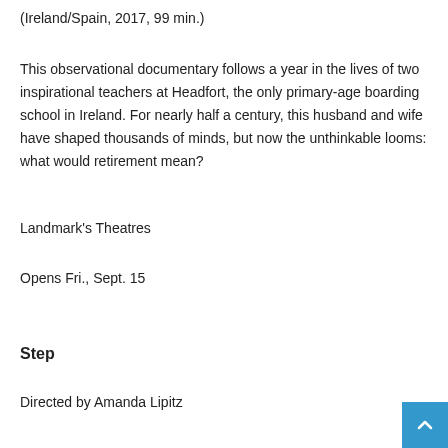(Ireland/Spain, 2017, 99 min.)
This observational documentary follows a year in the lives of two inspirational teachers at Headfort, the only primary-age boarding school in Ireland. For nearly half a century, this husband and wife have shaped thousands of minds, but now the unthinkable looms: what would retirement mean?
Landmark's Theatres
Opens Fri., Sept. 15
Step
Directed by Amanda Lipitz